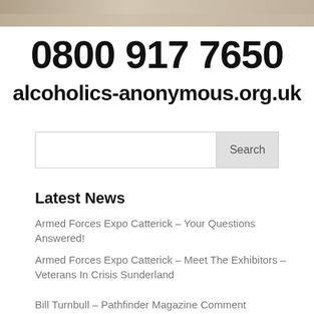[Figure (photo): Partial photo at top of page, muted beige/brown tones]
0800 917 7650
alcoholics-anonymous.org.uk
Latest News
Armed Forces Expo Catterick – Your Questions Answered!
Armed Forces Expo Catterick – Meet The Exhibitors – Veterans In Crisis Sunderland
Bill Turnbull – Pathfinder Magazine Comment